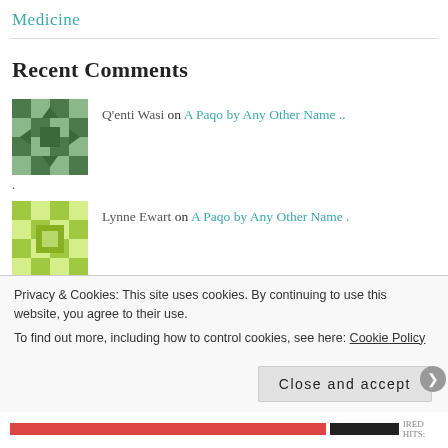Medicine
Recent Comments
Q'enti Wasi on A Paqo by Any Other Name ..
Lynne Ewart on A Paqo by Any Other Name ...
rondhicksblog on The Energy Dynamics of Saminch..
Privacy & Cookies: This site uses cookies. By continuing to use this website, you agree to their use. To find out more, including how to control cookies, see here: Cookie Policy
Close and accept